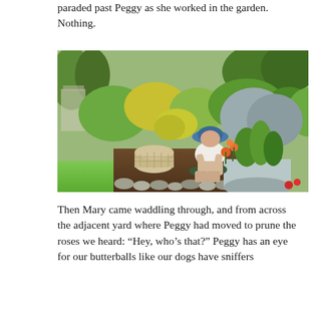paraded past Peggy as she worked in the garden. Nothing.
[Figure (photo): A person wearing a blue hat and white shirt kneeling in a lush garden, planting or tending to flowers. There is a wicker basket nearby and a large metal tub planter with green plants. The garden is full of colorful flowers and foliage with stone edging along the border.]
Then Mary came waddling through, and from across the adjacent yard where Peggy had moved to prune the roses we heard: “Hey, who’s that?” Peggy has an eye for our butterballs like our dogs have sniffers